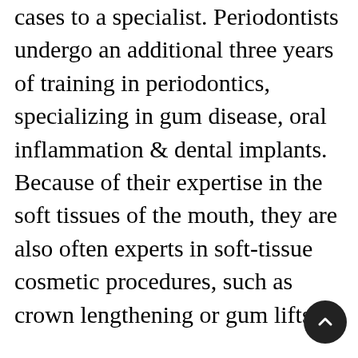cases to a specialist. Periodontists undergo an additional three years of training in periodontics, specializing in gum disease, oral inflammation & dental implants. Because of their expertise in the soft tissues of the mouth, they are also often experts in soft-tissue cosmetic procedures, such as crown lengthening or gum lifts.
Patients often don't experience pain with gum disease, but they might